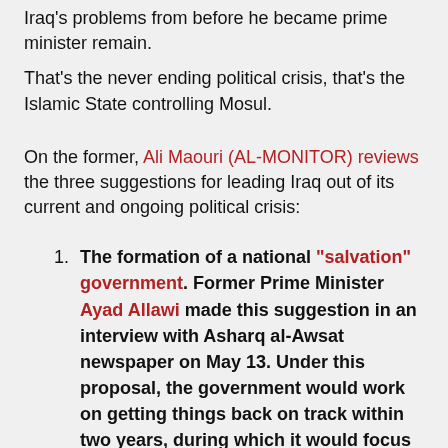Iraq's problems from before he became prime minister remain.
That's the never ending political crisis, that's the Islamic State controlling Mosul.
On the former, Ali Maouri (AL-MONITOR) reviews the three suggestions for leading Iraq out of its current and ongoing political crisis:
The formation of a national "salvation" government. Former Prime Minister Ayad Allawi made this suggestion in an interview with Asharq al-Awsat newspaper on May 13. Under this proposal, the government would work on getting things back on track within two years, during which it would focus on two main tasks: to defeat the Islamic State (IS) and create a political climate that helps eliminate